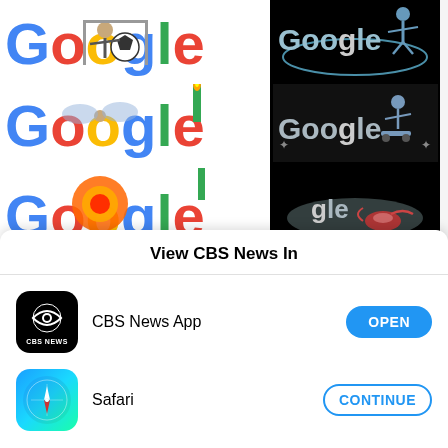[Figure (screenshot): Google Doodles grid showing 6 variations of the Google logo with sports/celebration themes. Left column: large doodles with soccer, birthday candle, and dragon themes. Right column: dark background doodles with skating/sports themes.]
View CBS News In
[Figure (logo): CBS News App icon — black rounded square with CBS eye logo and 'CBS NEWS' text]
CBS News App
[Figure (logo): Safari browser icon — blue compass on gradient background]
Safari